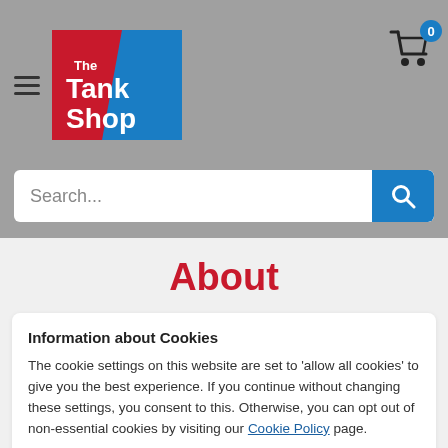[Figure (logo): The Tank Shop logo — red and blue angular branded logo]
[Figure (illustration): Shopping cart icon with blue badge showing 0]
Search...
About
Information about Cookies
The cookie settings on this website are set to 'allow all cookies' to give you the best experience. If you continue without changing these settings, you consent to this. Otherwise, you can opt out of non-essential cookies by visiting our Cookie Policy page.
Accept
between.